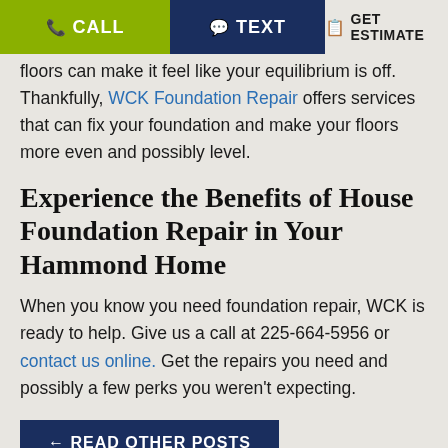CALL | TEXT | GET ESTIMATE
floors can make it feel like your equilibrium is off. Thankfully, WCK Foundation Repair offers services that can fix your foundation and make your floors more even and possibly level.
Experience the Benefits of House Foundation Repair in Your Hammond Home
When you know you need foundation repair, WCK is ready to help. Give us a call at 225-664-5956 or contact us online. Get the repairs you need and possibly a few perks you weren't expecting.
← READ OTHER POSTS
Recent Posts